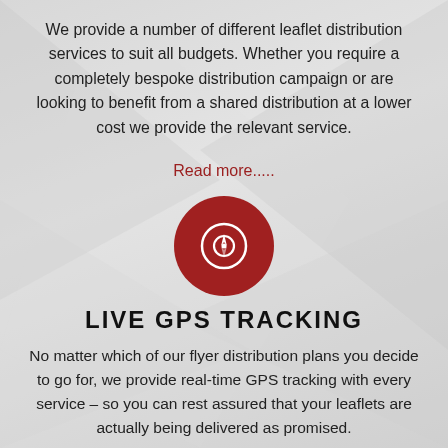We provide a number of different leaflet distribution services to suit all budgets. Whether you require a completely bespoke distribution campaign or are looking to benefit from a shared distribution at a lower cost we provide the relevant service.
Read more.....
[Figure (illustration): Dark red circle with a white compass/navigation icon in the center]
LIVE GPS TRACKING
No matter which of our flyer distribution plans you decide to go for, we provide real-time GPS tracking with every service – so you can rest assured that your leaflets are actually being delivered as promised.